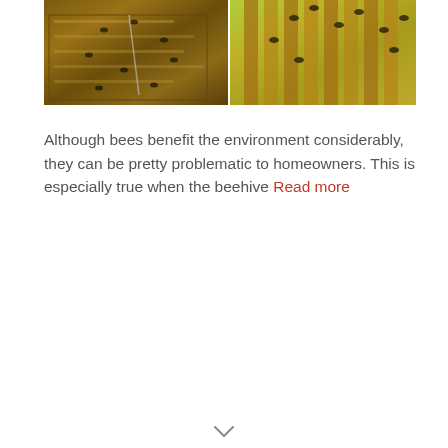[Figure (photo): Two side-by-side photos of bees: left photo shows bees on a beehive frame/board with wooden hive structure, right photo shows bees in flight near golden hive frames with warm yellow-green background]
Although bees benefit the environment considerably, they can be pretty problematic to homeowners. This is especially true when the beehive Read more